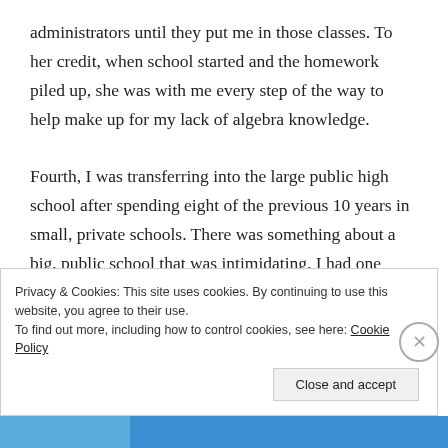administrators until they put me in those classes. To her credit, when school started and the homework piled up, she was with me every step of the way to help make up for my lack of algebra knowledge.

Fourth, I was transferring into the large public high school after spending eight of the previous 10 years in small, private schools. There was something about a big, public school that was intimidating. I had one friend who was in a similar boat who had gone to the same private schools I had from the time I moved to
Privacy & Cookies: This site uses cookies. By continuing to use this website, you agree to their use.
To find out more, including how to control cookies, see here: Cookie Policy
Close and accept